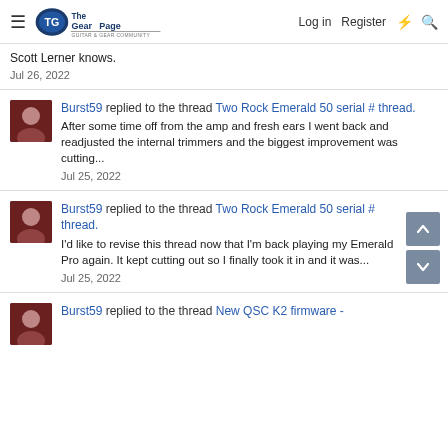The Gear Page — Log in  Register
Scott Lerner knows.
Jul 26, 2022
Burst59 replied to the thread Two Rock Emerald 50 serial # thread.
After some time off from the amp and fresh ears I went back and readjusted the internal trimmers and the biggest improvement was cutting...
Jul 25, 2022
Burst59 replied to the thread Two Rock Emerald 50 serial # thread.
I'd like to revise this thread now that I'm back playing my Emerald Pro again. It kept cutting out so I finally took it in and it was...
Jul 25, 2022
Burst59 replied to the thread New QSC K2 firmware -